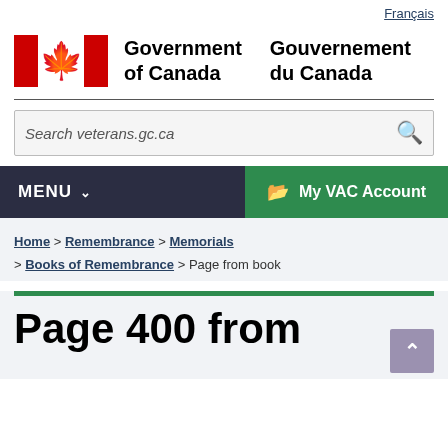Français
[Figure (logo): Government of Canada / Gouvernement du Canada logo with Canadian flag maple leaf symbol]
Government of Canada   Gouvernement du Canada
Search veterans.gc.ca
MENU   My VAC Account
Home > Remembrance > Memorials > Books of Remembrance > Page from book
Page 400 from